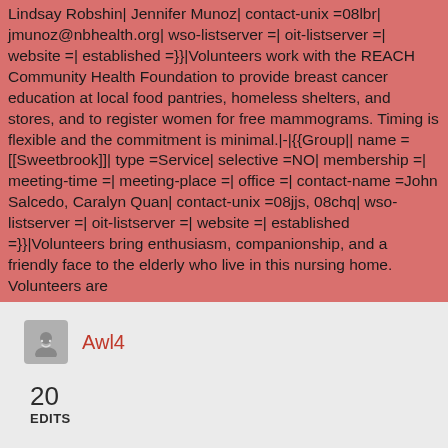Lindsay Robshin| Jennifer Munoz| contact-unix =08lbr| jmunoz@nbhealth.org| wso-listserver =| oit-listserver =| website =| established =}}|Volunteers work with the REACH Community Health Foundation to provide breast cancer education at local food pantries, homeless shelters, and stores, and to register women for free mammograms. Timing is flexible and the commitment is minimal.|-|{{Group|| name =[[Sweetbrook]]| type =Service| selective =NO| membership =| meeting-time =| meeting-place =| office =| contact-name =John Salcedo, Caralyn Quan| contact-unix =08jjs, 08chq| wso-listserver =| oit-listserver =| website =| established =}}|Volunteers bring enthusiasm, companionship, and a friendly face to the elderly who live in this nursing home. Volunteers are
Awl4
20 EDITS